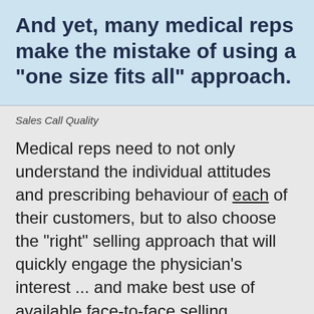And yet, many medical reps make the mistake of using a "one size fits all" approach.
Sales Call Quality
Medical reps need to not only understand the individual attitudes and prescribing behaviour of each of their customers, but to also choose the "right" selling approach that will quickly engage the physician's interest ... and make best use of available face-to-face selling